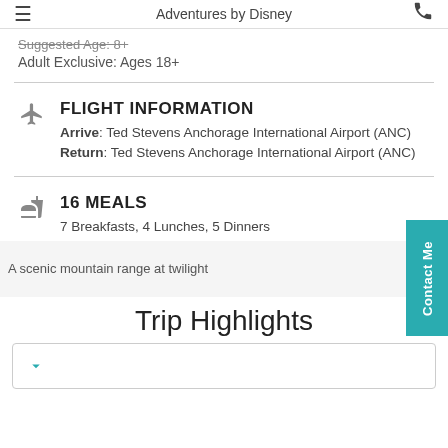Adventures by Disney
Suggested Age: 8+
Adult Exclusive: Ages 18+
FLIGHT INFORMATION
Arrive: Ted Stevens Anchorage International Airport (ANC)
Return: Ted Stevens Anchorage International Airport (ANC)
16 MEALS
7 Breakfasts, 4 Lunches, 5 Dinners
[Figure (photo): A scenic mountain range at twilight]
Trip Highlights